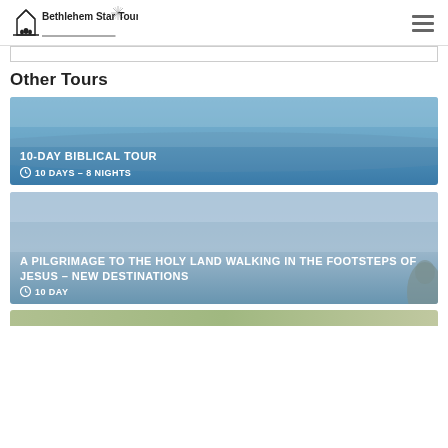Bethlehem Star Tours
Other Tours
[Figure (photo): Blue hazy sky landscape photo used as card background for 10-Day Biblical Tour]
10-DAY BIBLICAL TOUR
10 DAYS – 8 NIGHTS
[Figure (photo): Blue grey hazy landscape photo used as card background for A Pilgrimage to the Holy Land walking in the footsteps of Jesus – New Destinations]
A PILGRIMAGE TO THE HOLY LAND WALKING IN THE FOOTSTEPS OF JESUS – NEW DESTINATIONS
10 DAY
[Figure (photo): Partial view of a third tour card with greenish landscape background, cropped at bottom of page]